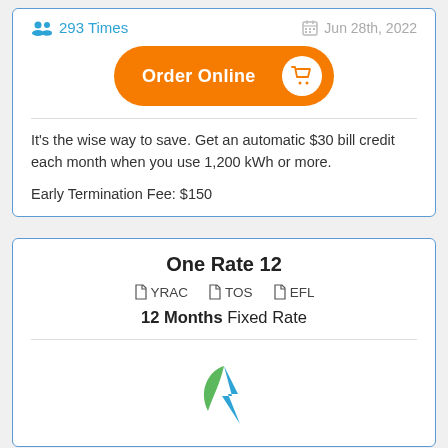293 Times
Jun 28th, 2022
Order Online
It's the wise way to save. Get an automatic $30 bill credit each month when you use 1,200 kWh or more.
Early Termination Fee: $150
One Rate 12
YRAC  TOS  EFL
12 Months Fixed Rate
[Figure (logo): Green and blue lightning bolt logo]